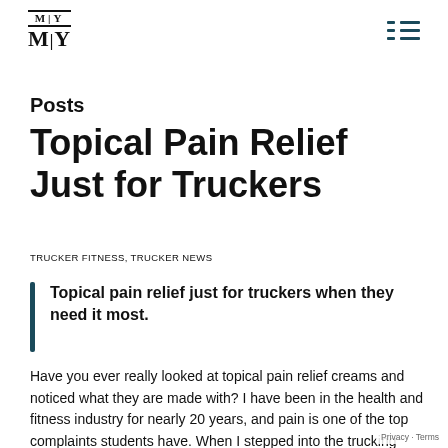MTY
Posts
Topical Pain Relief Just for Truckers
TRUCKER FITNESS, TRUCKER NEWS
Topical pain relief just for truckers when they need it most.
Have you ever really looked at topical pain relief creams and noticed what they are made with? I have been in the health and fitness industry for nearly 20 years, and pain is one of the top complaints students have. When I stepped into the trucking industry it was no surprise that pain, physical pain were also a